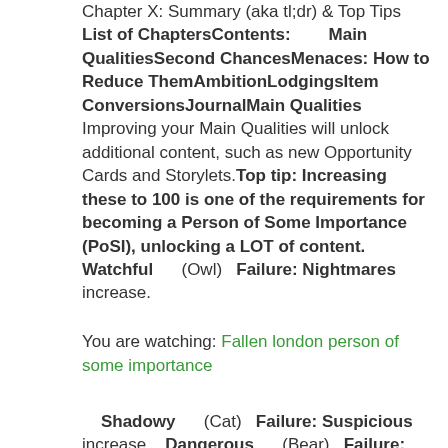Chapter X: Summary (aka tl;dr) & Top Tips  List of ChaptersContents:        Main QualitiesSecond ChancesMenaces: How to Reduce ThemAmbitionLodgingsItem ConversionsJournalMain Qualities        Improving your Main Qualities will unlock additional content, such as new Opportunity Cards and Storylets.Top tip: Increasing these to 100 is one of the requirements for becoming a Person of Some Importance (PoSI), unlocking a LOT of content. Watchful        (Owl)   Failure: Nightmares increase.
You are watching: Fallen london person of some importance
Shadowy        (Cat)   Failure: Suspicious increase.   Dangerous        (Bear)   Failure: